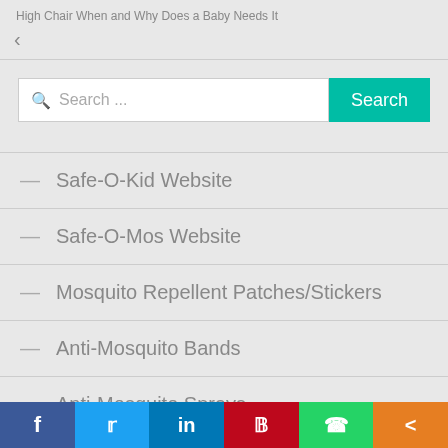High Chair When and Why Does a Baby Needs It
Search ...
— Safe-O-Kid Website
— Safe-O-Mos Website
— Mosquito Repellent Patches/Stickers
— Anti-Mosquito Bands
— Anti-Mosquito Sprays
f  twitter  in  pinterest  whatsapp  share